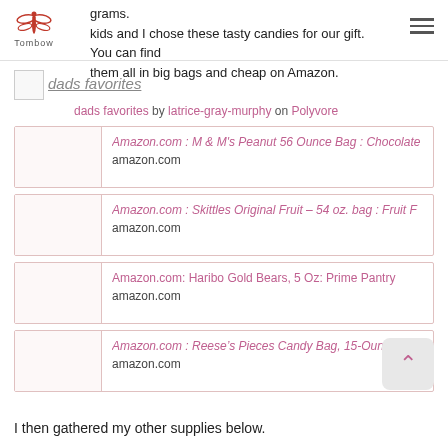Tombow logo and hamburger menu
kids and I chose these tasty candies for our gift. You can find them all in big bags and cheap on Amazon.
[Figure (photo): dads favorites image thumbnail with broken image icon]
dads favorites by latrice-gray-murphy on Polyvore
Amazon.com : M & M's Peanut 56 Ounce Bag : Chocolate
amazon.com
Amazon.com : Skittles Original Fruit – 54 oz. bag : Fruit F
amazon.com
Amazon.com: Haribo Gold Bears, 5 Oz: Prime Pantry
amazon.com
Amazon.com : Reese's Pieces Candy Bag, 15-Ounce : Che
amazon.com
I then gathered my other supplies below.